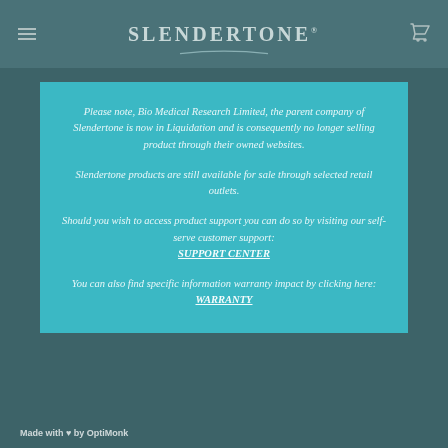SLENDERTONE
Please note, Bio Medical Research Limited, the parent company of Slendertone is now in Liquidation and is consequently no longer selling product through their owned websites.

Slendertone products are still available for sale through selected retail outlets.

Should you wish to access product support you can do so by visiting our self-serve customer support: SUPPORT CENTER

You can also find specific information warranty impact by clicking here: WARRANTY
Made with ♥ by OptiMonk